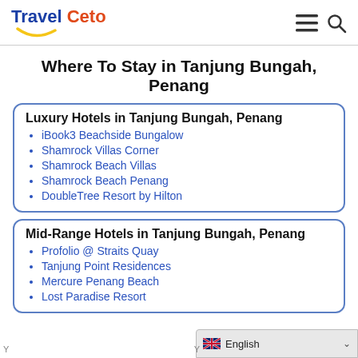Travel Ceto
Where To Stay in Tanjung Bungah, Penang
Luxury Hotels in Tanjung Bungah, Penang
iBook3 Beachside Bungalow
Shamrock Villas Corner
Shamrock Beach Villas
Shamrock Beach Penang
DoubleTree Resort by Hilton
Mid-Range Hotels in Tanjung Bungah, Penang
Profolio @ Straits Quay
Tanjung Point Residences
Mercure Penang Beach
Lost Paradise Resort